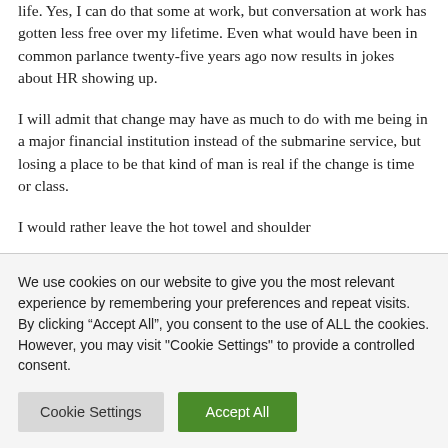life. Yes, I can do that some at work, but conversation at work has gotten less free over my lifetime. Even what would have been in common parlance twenty-five years ago now results in jokes about HR showing up.
I will admit that change may have as much to do with me being in a major financial institution instead of the submarine service, but losing a place to be that kind of man is real if the change is time or class.
I would rather leave the hot towel and shoulder
We use cookies on our website to give you the most relevant experience by remembering your preferences and repeat visits. By clicking "Accept All", you consent to the use of ALL the cookies. However, you may visit "Cookie Settings" to provide a controlled consent.